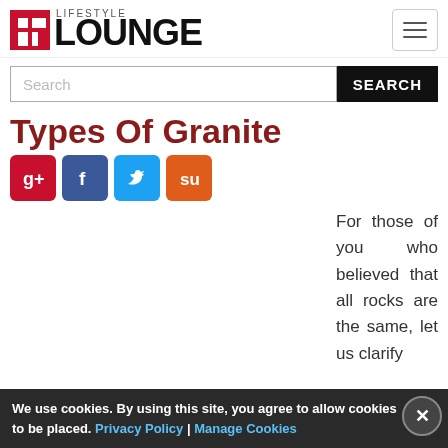LIFESTYLE LOUNGE
Search
Types Of Granite
[Figure (other): Social sharing buttons: Google+, Facebook, Twitter, StumbleUpon]
For those of you who believed that all rocks are the same, let us clarify...
We use cookies. By using this site, you agree to allow cookies to be placed. Privacy Policy | Manage Cookies